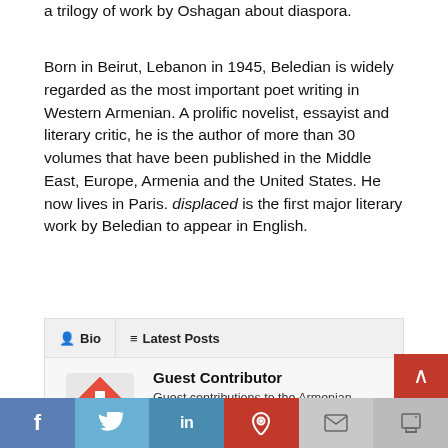a trilogy of work by Oshagan about diaspora.
Born in Beirut, Lebanon in 1945, Beledian is widely regarded as the most important poet writing in Western Armenian. A prolific novelist, essayist and literary critic, he is the author of more than 30 volumes that have been published in the Middle East, Europe, Armenia and the United States. He now lives in Paris. displaced is the first major literary work by Beledian to appear in English.
Bio   Latest Posts
[Figure (logo): Armenian Weekly red diamond logo with white arrow/chevron]
Guest Contributor
Guest contributions to the Armenian Weekly are informative articles or press releases written and submitted by members of the community.
Facebook Twitter LinkedIn Pinterest Email Print social share bar